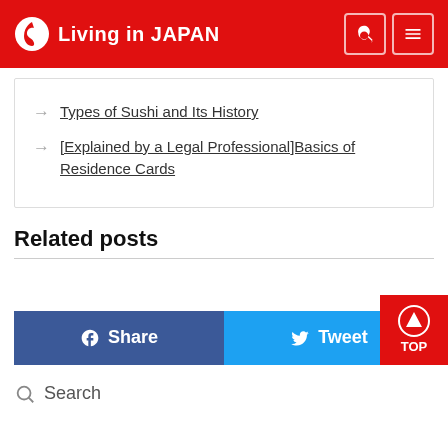Living in JAPAN
Types of Sushi and Its History
[Explained by a Legal Professional]Basics of Residence Cards
Related posts
Share
Tweet
TOP
Search